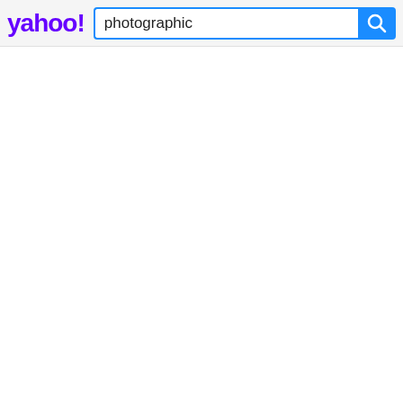[Figure (screenshot): Yahoo search bar screenshot showing the Yahoo logo in purple on the left and a search input field containing the text 'photographic' with a blue search button on the right.]